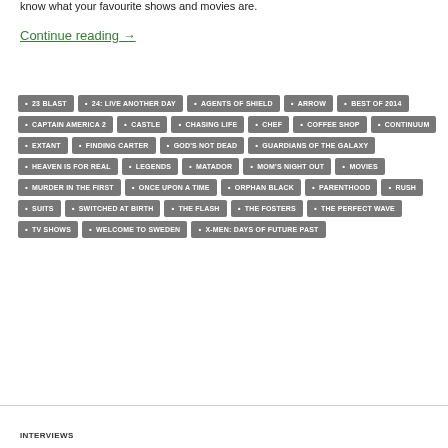know what your favourite shows and movies are.
Continue reading →
23 BLAST
24: LIVE ANOTHER DAY
AGENTS OF SHIELD
ARROW
BEST OF 2014
CAPTAIN AMERICA 2
CASTLE
CHASING LIFE
CHEF
COFFEE SHOP
CONTINUUM
EXTANT
FINDING CARTER
GOD'S NOT DEAD
GUARDIANS OF THE GALAXY
HEAVEN IS FOR REAL
LEGENDS
MATADOR
MOM'S NIGHT OUT
MOVIES
MURDER IN THE FIRST
ONCE UPON A TIME
ORPHAN BLACK
PARENTHOOD
RUSH
SUITS
SWITCHED AT BIRTH
THE FLASH
THE FOSTERS
THE PERFECT WAVE
TV SHOWS
WELCOME TO SWEDEN
X-MEN: DAYS OF FUTURE PAST
INTERVIEWS